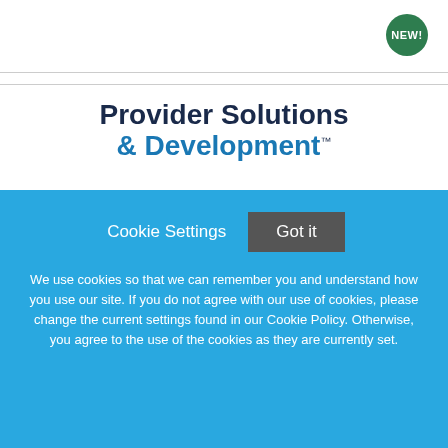[Figure (logo): NEW! badge - green circle with white bold text]
[Figure (logo): Provider Solutions & Development logo with trademark symbol]
Pulmonary Critical Care Physician
Mount Carmel Health System - Trinity Health
Columbus, Ohio
Cookie Settings   Got it
We use cookies so that we can remember you and understand how you use our site. If you do not agree with our use of cookies, please change the current settings found in our Cookie Policy. Otherwise, you agree to the use of the cookies as they are currently set.